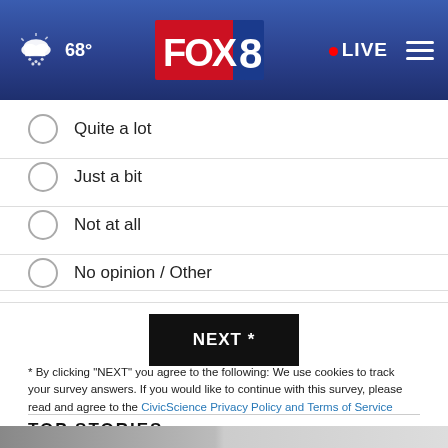[Figure (screenshot): FOX 8 news website header with weather showing cloud/snow icon and 68°, FOX 8 logo in center, red LIVE button and hamburger menu on right]
Quite a lot
Just a bit
Not at all
No opinion / Other
NEXT *
* By clicking "NEXT" you agree to the following: We use cookies to track your survey answers. If you would like to continue with this survey, please read and agree to the CivicScience Privacy Policy and Terms of Service
TOP STORIES ›
[Figure (photo): Black and white photo of a white animal (likely a goat or sheep)]